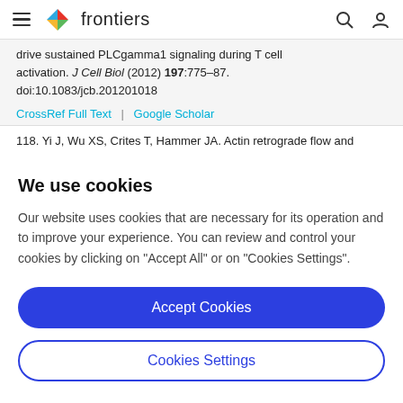frontiers
drive sustained PLCgamma1 signaling during T cell activation. J Cell Biol (2012) 197:775–87. doi:10.1083/jcb.201201018
CrossRef Full Text | Google Scholar
118. Yi J, Wu XS, Crites T, Hammer JA. Actin retrograde flow and
We use cookies
Our website uses cookies that are necessary for its operation and to improve your experience. You can review and control your cookies by clicking on "Accept All" or on "Cookies Settings".
Accept Cookies
Cookies Settings